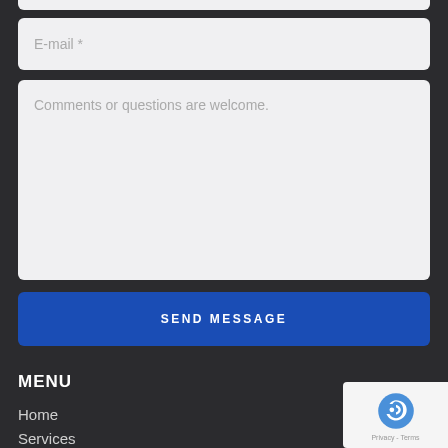[Figure (screenshot): Partial top input field (cropped at top of page)]
E-mail *
Comments or questions are welcome.
SEND MESSAGE
MENU
Home
Services
[Figure (logo): reCAPTCHA badge with Privacy and Terms text]